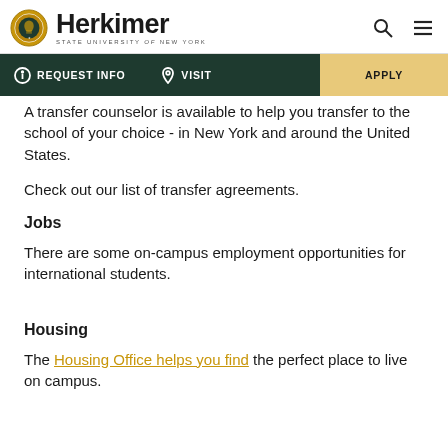Herkimer STATE UNIVERSITY OF NEW YORK
REQUEST INFO  VISIT  APPLY
A transfer counselor is available to help you transfer to the school of your choice - in New York and around the United States.
Check out our list of transfer agreements.
Jobs
There are some on-campus employment opportunities for international students.
Housing
The Housing Office helps you find the perfect place to live on campus.